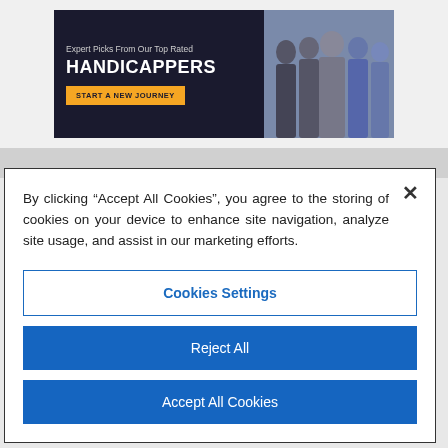[Figure (illustration): Advertisement banner for handicappers with text 'Expert Picks From Our Top Rated HANDICAPPERS' and a yellow 'START A NEW JOURNEY' button, alongside an image of several men in business attire.]
By clicking “Accept All Cookies”, you agree to the storing of cookies on your device to enhance site navigation, analyze site usage, and assist in our marketing efforts.
Cookies Settings
Reject All
Accept All Cookies